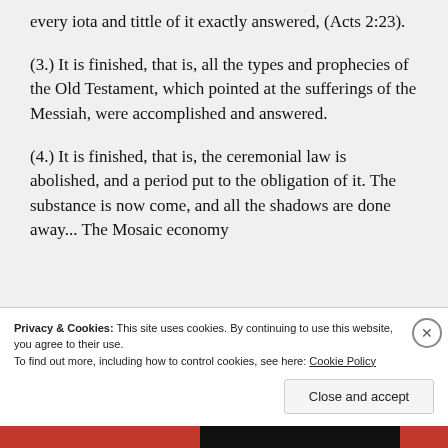every iota and tittle of it exactly answered, (Acts 2:23).
(3.) It is finished, that is, all the types and prophecies of the Old Testament, which pointed at the sufferings of the Messiah, were accomplished and answered.
(4.) It is finished, that is, the ceremonial law is abolished, and a period put to the obligation of it. The substance is now come, and all the shadows are done away... The Mosaic economy
Privacy & Cookies: This site uses cookies. By continuing to use this website, you agree to their use.
To find out more, including how to control cookies, see here: Cookie Policy
Close and accept